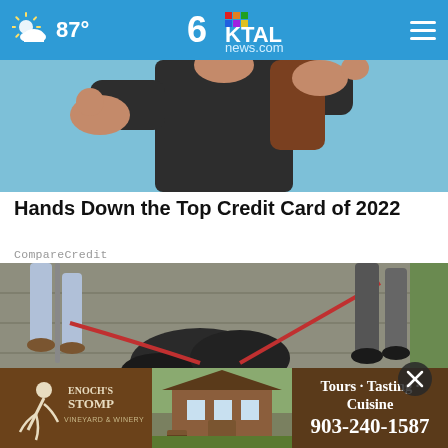KTAL news.com — 87° weather — navigation header
[Figure (photo): Woman in black top with arms raised, against light blue background, hero/ad image]
Hands Down the Top Credit Card of 2022
CompareCredit
[Figure (photo): Close-up ground-level photo of people and a dog on a leash on a brick/paved walkway]
[Figure (photo): Enoch's Stomp Vineyard & Winery advertisement banner showing logo, vineyard building, and text: Tours · Tasting · Cuisine 903-240-1587]